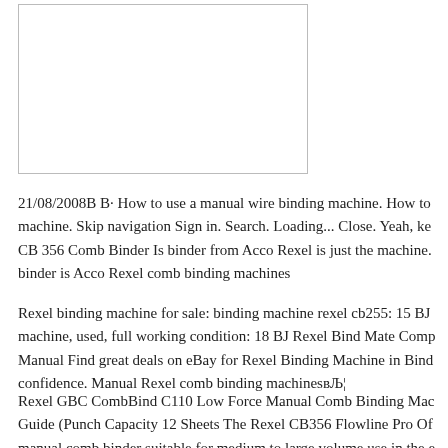[Figure (other): White rectangular image placeholder with border]
21/08/2008B B· How to use a manual wire binding machine. How to machine. Skip navigation Sign in. Search. Loading... Close. Yeah, ke CB 356 Comb Binder Is binder from Acco Rexel is just the machine. binder is Acco Rexel comb binding machines
Rexel binding machine for sale: binding machine rexel cb255: 15 BJ machine, used, full working condition: 18 BJ Rexel Bind Mate Comp Manual Find great deals on eBay for Rexel Binding Machine in Bind confidence. Manual Rexel comb binding machinesвЉ¦
Rexel GBC CombBind C110 Low Force Manual Comb Binding Mac Guide (Punch Capacity 12 Sheets The Rexel CB356 Flowline Pro Of manual comb binder suitable for medium to large volume use in the e